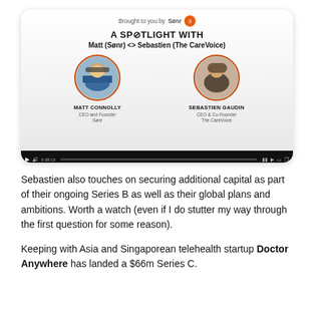[Figure (screenshot): Video player screenshot showing a spotlight interview card. Header reads 'Brought to you by Sønr' with an orange badge. Title: 'A SPOTLIGHT WITH Matt (Sønr) <> Sebastien (The CareVoice)'. Two profile photos: Matt Connolly (CEO and Founder, Sønr) on the left and Sebastien Gaudin (CEO & Co-Founder, The CareVoice) on the right, each with orange circular borders. A video control bar is at the bottom.]
Sebastien also touches on securing additional capital as part of their ongoing Series B as well as their global plans and ambitions. Worth a watch (even if I do stutter my way through the first question for some reason).
Keeping with Asia and Singaporean telehealth startup Doctor Anywhere has landed a $66m Series C.